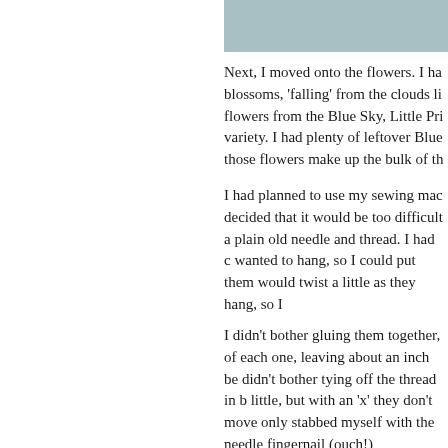[Figure (photo): Partial photo strip at top right of page, showing a muted blue-grey image.]
Next, I moved onto the flowers. I ha blossoms, 'falling' from the clouds li flowers from the Blue Sky, Little Pri variety. I had plenty of leftover Blue those flowers make up the bulk of th
I had planned to use my sewing mac decided that it would be too difficult a plain old needle and thread. I had c wanted to hang, so I could put them would twist a little as they hang, so I
I didn't bother gluing them together, of each one, leaving about an inch be didn't bother tying off the thread in b little, but with an 'x' they don't move only stabbed myself with the needle fingernail (ouch!)